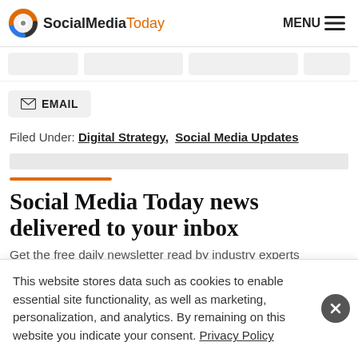SocialMediaToday | MENU
[Figure (logo): SocialMediaToday logo with circular orange/blue icon and text]
EMAIL
Filed Under: Digital Strategy, Social Media Updates
Social Media Today news delivered to your inbox
Get the free daily newsletter read by industry experts
This website stores data such as cookies to enable essential site functionality, as well as marketing, personalization, and analytics. By remaining on this website you indicate your consent. Privacy Policy